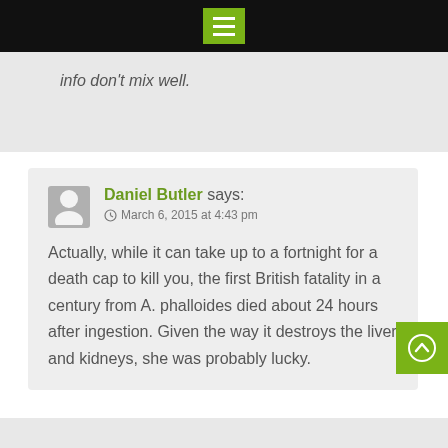info don't mix well.
Daniel Butler says:
March 6, 2015 at 4:43 pm

Actually, while it can take up to a fortnight for a death cap to kill you, the first British fatality in a century from A. phalloides died about 24 hours after ingestion. Given the way it destroys the liver and kidneys, she was probably lucky.